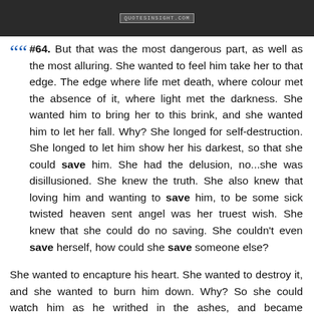[Figure (photo): Dark background image banner with watermark text 'QUOTESINSIGHT.COM' in center]
““ #64. But that was the most dangerous part, as well as the most alluring. She wanted to feel him take her to that edge. The edge where life met death, where colour met the absence of it, where light met the darkness. She wanted him to bring her to this brink, and she wanted him to let her fall. Why? She longed for self-destruction. She longed to let him show her his darkest, so that she could save him. She had the delusion, no...she was disillusioned. She knew the truth. She also knew that loving him and wanting to save him, to be some sick twisted heaven sent angel was her truest wish. She knew that she could do no saving. She couldn't even save herself, how could she save someone else?
She wanted to encapture his heart. She wanted to destroy it, and she wanted to burn him down. Why? So she could watch him as he writhed in the ashes, and became something new. She wanted to watch him rebirth himself in those flames and ashes like a